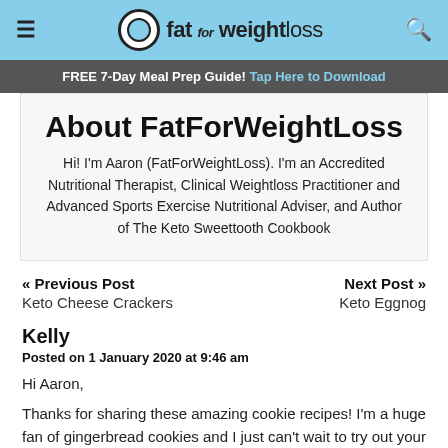fat FOR weightloss
FREE 7-Day Meal Prep Guide! Tap Here to Download
About FatForWeightLoss
Hi! I'm Aaron (FatForWeightLoss). I'm an Accredited Nutritional Therapist, Clinical Weightloss Practitioner and Advanced Sports Exercise Nutritional Adviser, and Author of The Keto Sweettooth Cookbook
« Previous Post
Keto Cheese Crackers
Next Post »
Keto Eggnog
Kelly
Posted on 1 January 2020 at 9:46 am
Hi Aaron,

Thanks for sharing these amazing cookie recipes! I'm a huge fan of gingerbread cookies and I just can't wait to try out your